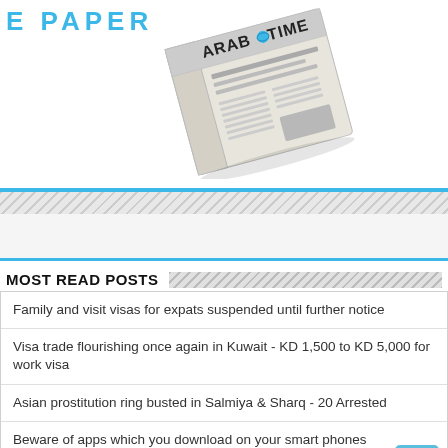[Figure (illustration): Arab Times ePaper logo with a newspaper graphic showing 'ARAB TIMES' text, tilted at an angle, with 'E PAPER' text in blue at top left]
MOST READ POSTS
Family and visit visas for expats suspended until further notice
Visa trade flourishing once again in Kuwait - KD 1,500 to KD 5,000 for work visa
Asian prostitution ring busted in Salmiya & Sharq - 20 Arrested
Beware of apps which you download on your smart phones
Return ticket to Kuwait costs five times more than departure ticket